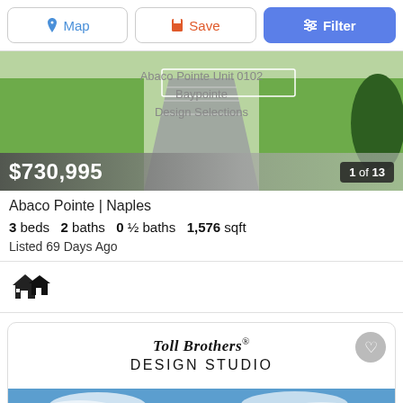[Figure (screenshot): Mobile app toolbar with Map, Save, and Filter buttons]
[Figure (photo): Aerial or exterior view of property with grass/pathway, overlaid with text 'Abaco Pointe Unit 0102 Baypointe Design Selections', price bar showing $730,995 and '1 of 13']
Abaco Pointe | Naples
3 beds   2 baths   0 ½ baths   1,576 sqft
Listed 69 Days Ago
[Figure (logo): House/building icon (emoji style)]
[Figure (logo): Toll Brothers Design Studio card with heart/save button and partial blue-sky image at bottom]